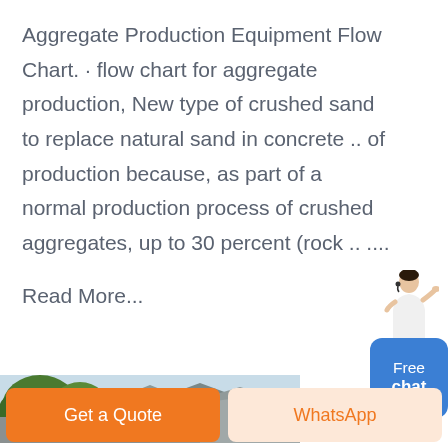Aggregate Production Equipment Flow Chart. · flow chart for aggregate production, New type of crushed sand to replace natural sand in concrete .. of production because, as part of a normal production process of crushed aggregates, up to 30 percent (rock .. ....
Read More...
[Figure (photo): Landscape photo showing green trees and hilly terrain in the background]
[Figure (illustration): Chat widget with an avatar illustration of a person in white shirt gesturing, above a blue rounded button labeled 'Free chat']